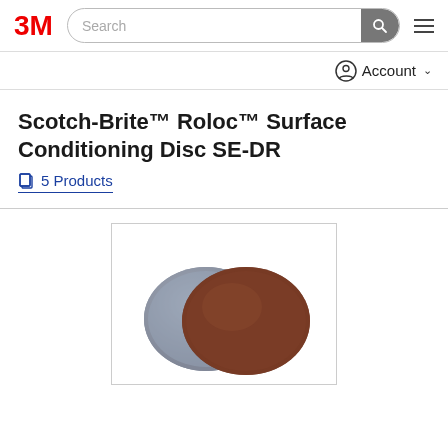3M | Search | Account
Scotch-Brite™ Roloc™ Surface Conditioning Disc SE-DR
5 Products
[Figure (photo): Two Scotch-Brite Roloc surface conditioning discs — one grey fibrous disc with a black Roloc attachment button, one reddish-brown abrasive disc — shown overlapping on a white background inside a bordered box.]